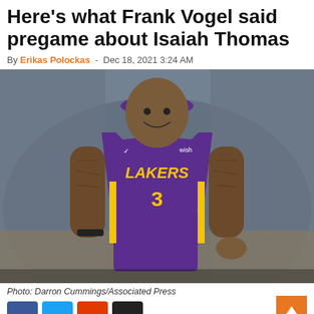Here's what Frank Vogel said pregame about Isaiah Thomas
By Erikas Polockas - Dec 18, 2021 3:24 AM
[Figure (photo): Isaiah Thomas wearing Los Angeles Lakers purple jersey number 3, smiling on the basketball court, with a crowd in the background.]
Photo: Darron Cummings/Associated Press